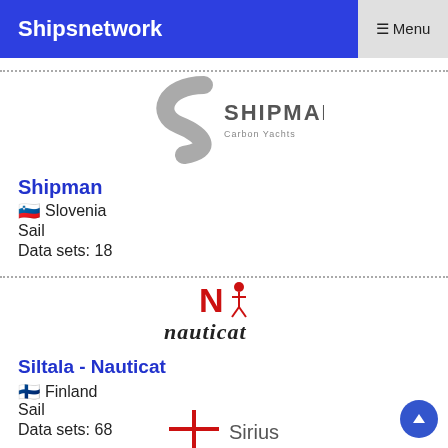Shipsnetwork  ☰ Menu
[Figure (logo): Shipman Carbon Yachts logo — stylized S curve in grey with SHIPMAN text and 'Carbon Yachts' subtitle]
Shipman
🇸🇮 Slovenia
Sail
Data sets: 18
[Figure (logo): Nauticat logo — red N with figure and 'nauticat' text in dark italic]
Siltala - Nauticat
🇫🇮 Finland
Sail
Data sets: 68
[Figure (logo): Sirius logo — red crosshair/plus sign with Sirius text, partially visible at bottom]